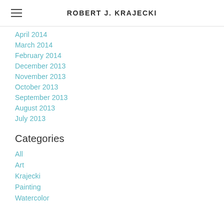ROBERT J. KRAJECKI
April 2014
March 2014
February 2014
December 2013
November 2013
October 2013
September 2013
August 2013
July 2013
Categories
All
Art
Krajecki
Painting
Watercolor